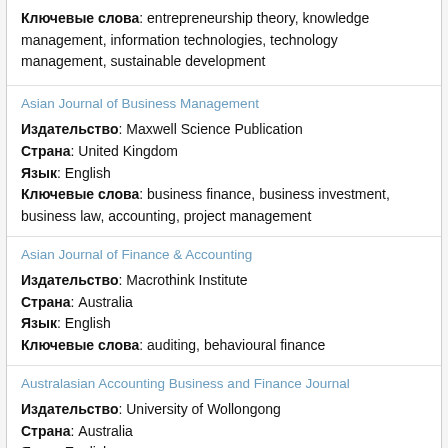Ключевые слова: entrepreneurship theory, knowledge management, information technologies, technology management, sustainable development
Asian Journal of Business Management
Издательство: Maxwell Science Publication
Страна: United Kingdom
Язык: English
Ключевые слова: business finance, business investment, business law, accounting, project management
Asian Journal of Finance & Accounting
Издательство: Macrothink Institute
Страна: Australia
Язык: English
Ключевые слова: auditing, behavioural finance
Australasian Accounting Business and Finance Journal
Издательство: University of Wollongong
Страна: Australia
Язык: English
Ключевые слова: accounting, finance, financial planning, banking